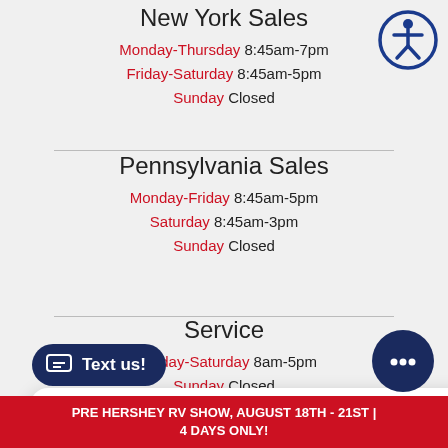New York Sales
Monday-Thursday 8:45am-7pm
Friday-Saturday 8:45am-5pm
Sunday Closed
Pennsylvania Sales
Monday-Friday 8:45am-5pm
Saturday 8:45am-3pm
Sunday Closed
Service
Monday-Saturday 8am-5pm
Sunday Closed
[Figure (other): Chat popup bubble with text 'How can we help? Text us here!' and a close X button]
QUICK LINKS
New Inventory
Service & Parts
[Figure (other): Dark navy 'Text us!' button with chat icon on the left]
[Figure (other): Chat bot circular icon (dark navy with ellipsis speech bubble)]
[Figure (other): Accessibility (wheelchair person in circle) icon, top right]
PRE HERSHEY RV SHOW, AUGUST 18TH - 21ST | 4 DAYS ONLY!